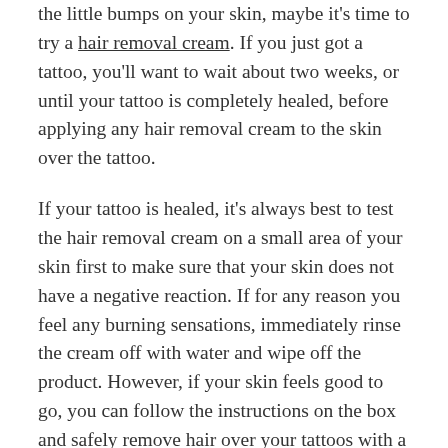the little bumps on your skin, maybe it's time to try a hair removal cream. If you just got a tattoo, you'll want to wait about two weeks, or until your tattoo is completely healed, before applying any hair removal cream to the skin over the tattoo.
If your tattoo is healed, it's always best to test the hair removal cream on a small area of your skin first to make sure that your skin does not have a negative reaction. If for any reason you feel any burning sensations, immediately rinse the cream off with water and wipe off the product. However, if your skin feels good to go, you can follow the instructions on the box and safely remove hair over your tattoos with a hair removal cream.
Consider all of the factors above before choosing